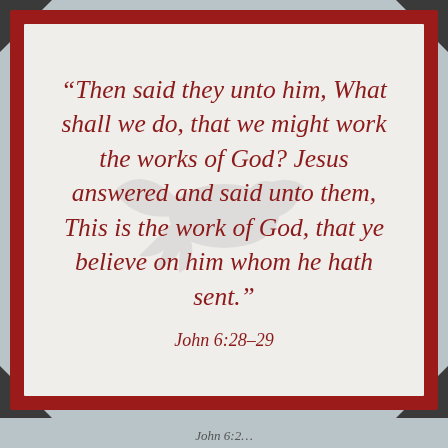“Then said they unto him, What shall we do, that we might work the works of God? Jesus answered and said unto them, This is the work of God, that ye believe on him whom he hath sent.”
John 6:28–29
John 6:2...